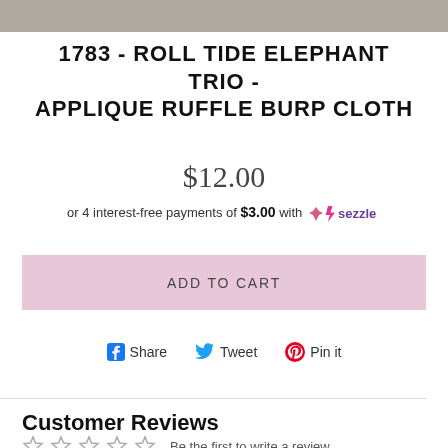[Figure (photo): Partial product photo strip at top of page]
1783 - ROLL TIDE ELEPHANT TRIO - APPLIQUE RUFFLE BURP CLOTH
$12.00
or 4 interest-free payments of $3.00 with Sezzle
ADD TO CART
Share  Tweet  Pin it
Customer Reviews
Be the first to write a review